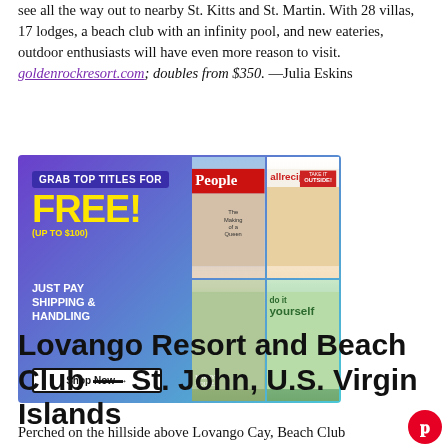see all the way out to nearby St. Kitts and St. Martin. With 28 villas, 17 lodges, a beach club with an infinity pool, and new eateries, outdoor enthusiasts will have even more reason to visit. goldenrockresort.com; doubles from $350. —Julia Eskins
[Figure (illustration): Advertisement banner: Grab top titles for FREE! (up to $100) Just pay shipping & handling. Shop Now arrow. Shows magazine covers: People, allrecipes, Harry's House, Do It Yourself. Purple-to-teal gradient background.]
Lovango Resort and Beach Club — St. John, U.S. Virgin Islands
Perched on the hillside above Lovango Cay, Beach Club...